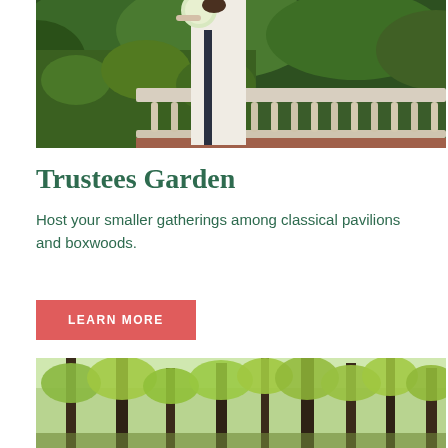[Figure (photo): A bride in a white wedding dress with a dark sash holding a bouquet of white flowers, standing at a curved stone balustrade covered in ivy, in an outdoor garden setting.]
Trustees Garden
Host your smaller gatherings among classical pavilions and boxwoods.
LEARN MORE
[Figure (photo): A wooded outdoor area with tall trees with spring green foliage, suggesting a natural garden or park setting.]